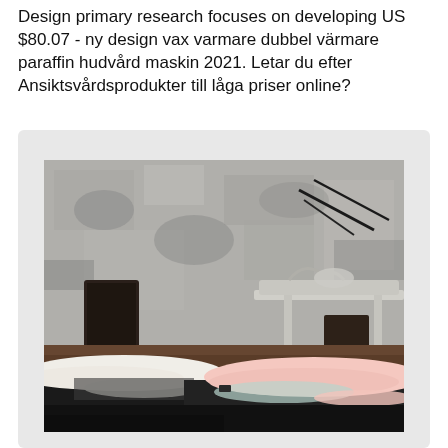Design primary research focuses on developing US $80.07 - ny design vax varmare dubbel värmare paraffin hudvård maskin 2021. Letar du efter Ansiktsvårdsprodukter till låga priser online?
[Figure (photo): Photograph of snow-covered cars parked in front of an old weathered building facade with ornate architectural details and iron rods protruding from the wall.]